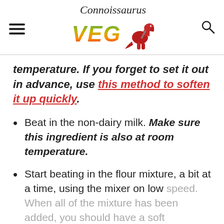Connoissaurus VEG
temperature. If you forget to set it out in advance, use this method to soften it up quickly.
Beat in the non-dairy milk. Make sure this ingredient is also at room temperature.
Start beating in the flour mixture, a bit at a time, using the mixer on low speed. When all of the mixture has been added, you should have a soft